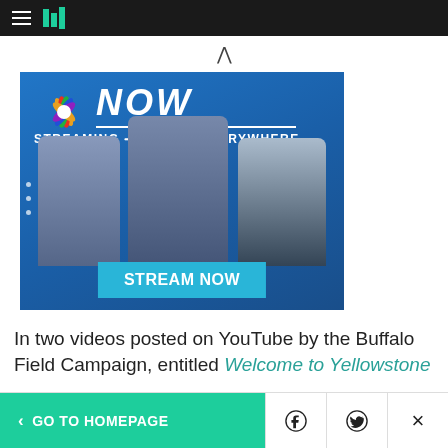HuffPost navigation header with hamburger menu and logo
[Figure (photo): NBC NOW streaming advertisement showing three news anchors with text 'STREAMING FREE EVERYWHERE' and 'STREAM NOW' button on blue background]
In two videos posted on YouTube by the Buffalo Field Campaign, entitled Welcome to Yellowstone
GO TO HOMEPAGE | Facebook | Twitter | Close